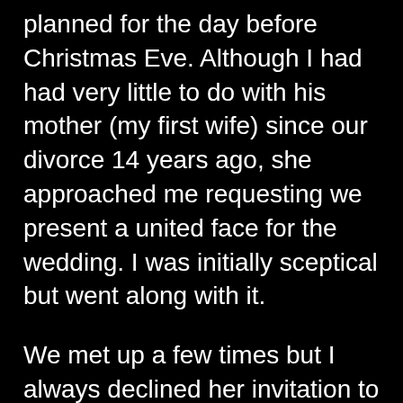planned for the day before Christmas Eve. Although I had had very little to do with his mother (my first wife) since our divorce 14 years ago, she approached me requesting we present a united face for the wedding. I was initially sceptical but went along with it.
We met up a few times but I always declined her invitation to come in to her apartment. She had been recently widowed and whilst I was sympathetic to her situation the memory of the pain she inflicted upon me in the last years of our marriage and divorce had not completely disappeared.
I continued to refuse her invitations until one evening she declared she hadn't had an orgasm for some